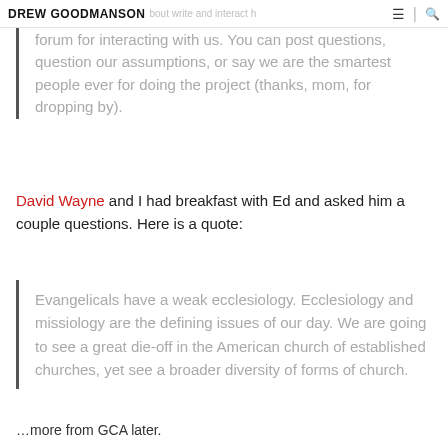DREW GOODMANSON | [about write and interact here] ☰ 🔍
Whenever we release research, this will be the official forum for interacting with us. You can post questions, question our assumptions, or say we are the smartest people ever for doing the project (thanks, mom, for dropping by).
David Wayne and I had breakfast with Ed and asked him a couple questions. Here is a quote:
Evangelicals have a weak ecclesiology.  Ecclesiology and missiology are the defining issues of our day.  We are going to see a great die-off in the American church of established churches, yet see a broader diversity of forms of church.
…more from GCA later.